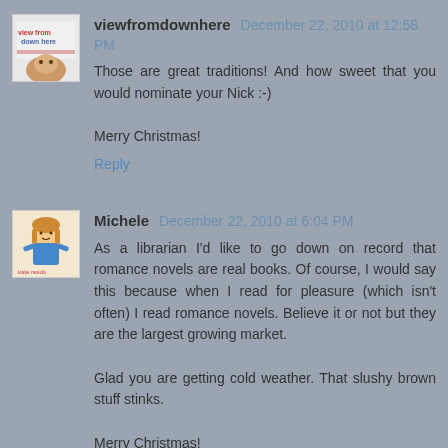viewfromdownhere  December 22, 2010 at 12:58 PM
Those are great traditions! And how sweet that you would nominate your Nick :-)

Merry Christmas!
Reply
Michele  December 22, 2010 at 6:04 PM
As a librarian I'd like to go down on record that romance novels are real books. Of course, I would say this because when I read for pleasure (which isn't often) I read romance novels. Believe it or not but they are the largest growing market.

Glad you are getting cold weather. That slushy brown stuff stinks.

Merry Christmas!
Reply